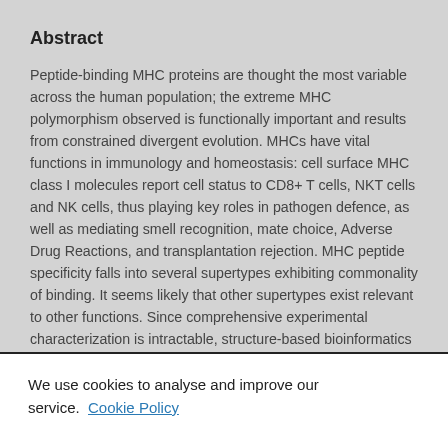Abstract
Peptide-binding MHC proteins are thought the most variable across the human population; the extreme MHC polymorphism observed is functionally important and results from constrained divergent evolution. MHCs have vital functions in immunology and homeostasis: cell surface MHC class I molecules report cell status to CD8+ T cells, NKT cells and NK cells, thus playing key roles in pathogen defence, as well as mediating smell recognition, mate choice, Adverse Drug Reactions, and transplantation rejection. MHC peptide specificity falls into several supertypes exhibiting commonality of binding. It seems likely that other supertypes exist relevant to other functions. Since comprehensive experimental characterization is intractable, structure-based bioinformatics is the only viable solution. We modelled functional MHC proteins by homology and used
We use cookies to analyse and improve our service. Cookie Policy